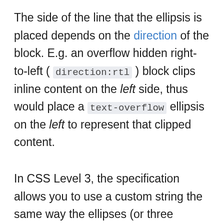The side of the line that the ellipsis is placed depends on the direction of the block. E.g. an overflow hidden right-to-left ( direction:rtl ) block clips inline content on the left side, thus would place a text-overflow ellipsis on the left to represent that clipped content.
In CSS Level 3, the specification allows you to use a custom string the same way the ellipses (or three points) are used in this example. So,